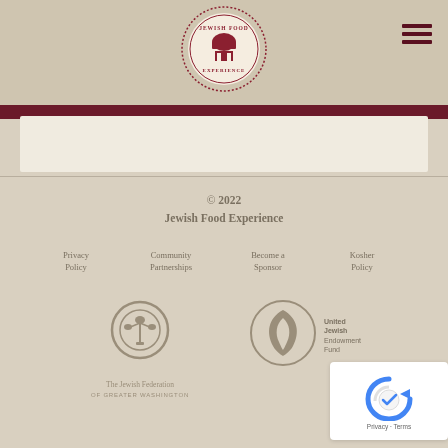[Figure (logo): Jewish Food Experience circular logo with chef hat, red and cream colors]
[Figure (illustration): Hamburger menu icon, three dark red horizontal lines]
© 2022
Jewish Food Experience
Privacy Policy
Community Partnerships
Become a Sponsor
Kosher Policy
[Figure (logo): The Jewish Federation of Greater Washington logo - circular menorah symbol in taupe/brown]
[Figure (logo): United Jewish Endowment Fund logo - flame/leaf in circle]
[Figure (illustration): Google reCAPTCHA widget with Privacy and Terms links]